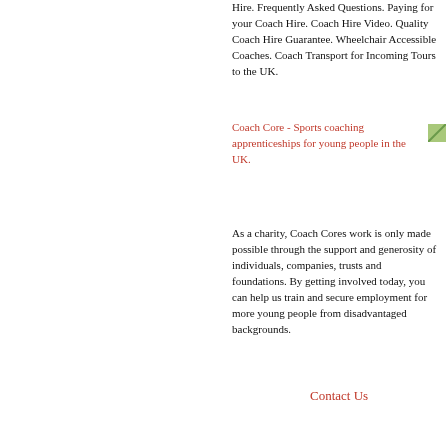Hire. Frequently Asked Questions. Paying for your Coach Hire. Coach Hire Video. Quality Coach Hire Guarantee. Wheelchair Accessible Coaches. Coach Transport for Incoming Tours to the UK.
Coach Core - Sports coaching apprenticeships for young people in the UK.
[Figure (illustration): Small thumbnail image partially visible at right edge]
As a charity, Coach Cores work is only made possible through the support and generosity of individuals, companies, trusts and foundations. By getting involved today, you can help us train and secure employment for more young people from disadvantaged backgrounds.
Contact Us